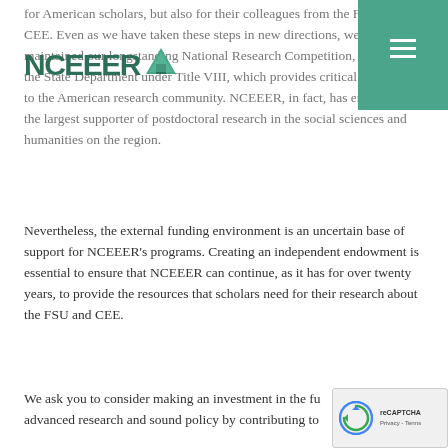NCEEER logo and navigation
for American scholars, but also for their colleagues from the FSU and CEE. Even as we have taken these steps in new directions, we have maintained our longstanding National Research Competition, funded by the State Department under Title VIII, which provides critical resources to the American research community. NCEEER, in fact, has emerged as the largest supporter of postdoctoral research in the social sciences and humanities on the region.
Nevertheless, the external funding environment is an uncertain base of support for NCEEER's programs. Creating an independent endowment is essential to ensure that NCEEER can continue, as it has for over twenty years, to provide the resources that scholars need for their research about the FSU and CEE.
We ask you to consider making an investment in the fu... advanced research and sound policy by contributing to...